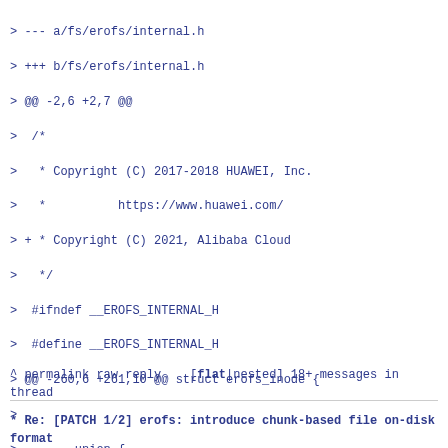> --- a/fs/erofs/internal.h
> +++ b/fs/erofs/internal.h
> @@ -2,6 +2,7 @@
>  /*
>   * Copyright (C) 2017-2018 HUAWEI, Inc.
>   *          https://www.huawei.com/
> + * Copyright (C) 2021, Alibaba Cloud
>   */
>  #ifndef __EROFS_INTERNAL_H
>  #define __EROFS_INTERNAL_H
> @@ -260,6 +261,10 @@ struct erofs_inode {
> 
>        union {
>               erofs_blk_t raw_blkaddr;
> +             struct {
> +                     unsigned short  chunkformat;
> +                     unsigned char   chunkbits;
> +             };
>  #ifdef CONFIG_EROFS_FS_ZIP
>               struct {
>                      unsigned short z_advise;
> --
> 2.24.4
^ permalink raw reply    [flat|nested] 18+ messages in thread
* Re: [PATCH 1/2] erofs: introduce chunk-based file on-disk format